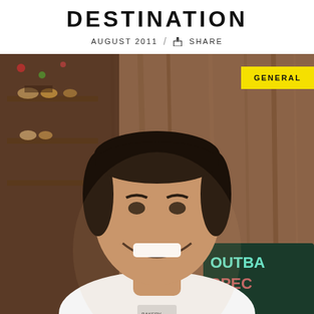DESTINATION
AUGUST 2011 / SHARE
[Figure (photo): Smiling young man in white t-shirt standing in front of a bakery with wooden wall background and a chalkboard sign reading 'OUTBACK SPECIAL'. A yellow badge in upper right reads 'GENERAL'.]